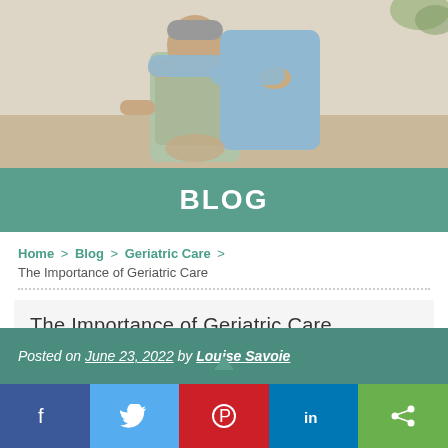[Figure (photo): Elderly man seated on a couch being assisted or comforted by a caregiver placing hands on his shoulders]
BLOG
Home > Blog > Geriatric Care > The Importance of Geriatric Care
The Importance of Geriatric Care
Posted on June 23, 2022 by Louise Savoie
[Figure (infographic): Social share bar with Facebook, Twitter, Pinterest, LinkedIn, and Share buttons]